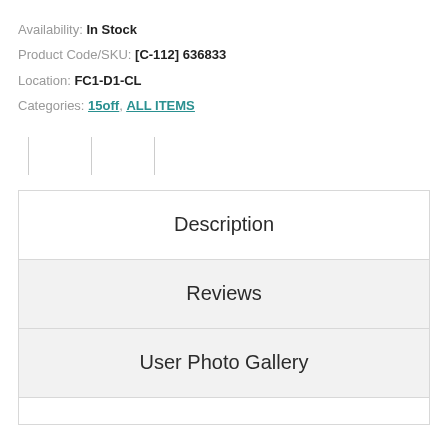Availability: In Stock
Product Code/SKU: [C-112] 636833
Location: FC1-D1-CL
Categories: 15off, ALL ITEMS
Description
Reviews
User Photo Gallery